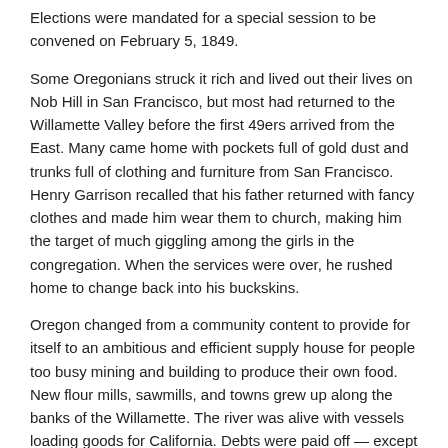Elections were mandated for a special session to be convened on February 5, 1849.
Some Oregonians struck it rich and lived out their lives on Nob Hill in San Francisco, but most had returned to the Willamette Valley before the first 49ers arrived from the East. Many came home with pockets full of gold dust and trunks full of clothing and furniture from San Francisco. Henry Garrison recalled that his father returned with fancy clothes and made him wear them to church, making him the target of much giggling among the girls in the congregation. When the services were over, he rushed home to change back into his buckskins.
Oregon changed from a community content to provide for itself to an ambitious and efficient supply house for people too busy mining and building to produce their own food. New flour mills, sawmills, and towns grew up along the banks of the Willamette. The river was alive with vessels loading goods for California. Debts were paid off — except those owed to John McLoughlin — as Oregon's economy leapt into high gear.
Across Oregon, businesses and industries were growing. New varieties of sheep were imported from Australia. Wheat purchased for 62¢ a bushel at the mill sold for $9 a bushel in California. Apples sold for $1.50 each in California, and 6000 bushels were immediately sent south. New orchards were set in the fall of 1848, and by 1856, 20,000 bushels were shipped. Roads and mail service from Oregon City to Sacramento were developed or improved.